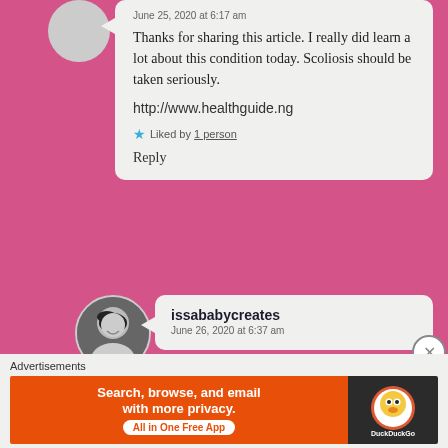June 25, 2020 at 6:17 am
Thanks for sharing this article. I really did learn a lot about this condition today. Scoliosis should be taken seriously.

http://www.healthguide.ng

★ Liked by 1 person

Reply
issababycreates
June 26, 2020 at 6:37 am
Advertisements
[Figure (infographic): DuckDuckGo advertisement banner: orange left panel with text 'Search, browse, and email with more privacy. All in One Free App', dark right panel with DuckDuckGo logo]